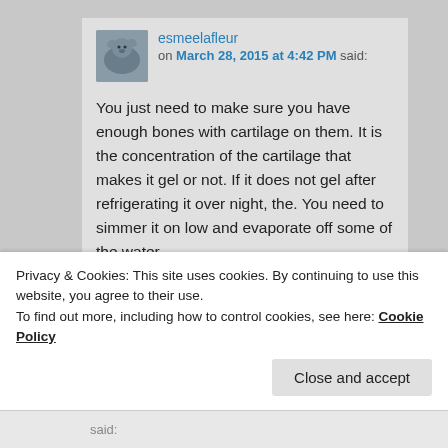esmeelafleur on March 28, 2015 at 4:42 PM said:
You just need to make sure you have enough bones with cartilage on them. It is the concentration of the cartilage that makes it gel or not. If it does not gel after refrigerating it over night, the. You need to simmer it on low and evaporate off some of the water.
★ Liked by 1 person
Privacy & Cookies: This site uses cookies. By continuing to use this website, you agree to their use. To find out more, including how to control cookies, see here: Cookie Policy
Close and accept
said: